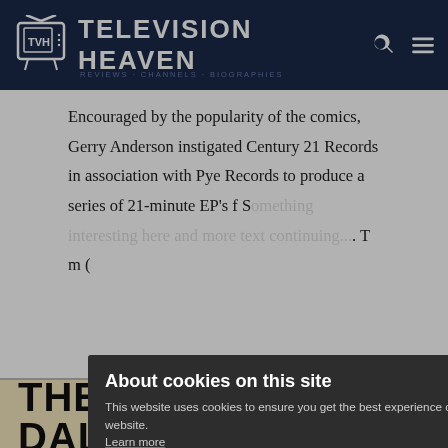Television Heaven
Encouraged by the popularity of the comics, Gerry Anderson instigated Century 21 Records in association with Pye Records to produce a series of 21-minute EP's f... S... T... m... (
About cookies on this site
This website uses cookies to ensure you get the best experience on our website.
Learn more
Allow all cookies
Cookie settings
[Figure (photo): Bottom of page showing THE DALEKS record label with 33 mini album text]